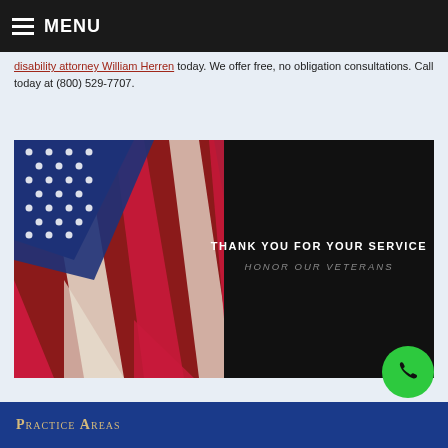MENU
disability attorney William Herren today. We offer free, no obligation consultations. Call today at (800) 529-7707.
[Figure (photo): American flag folded/draped against dark background with text 'THANK YOU FOR YOUR SERVICE' and 'HONOR OUR VETERANS']
Practice Areas